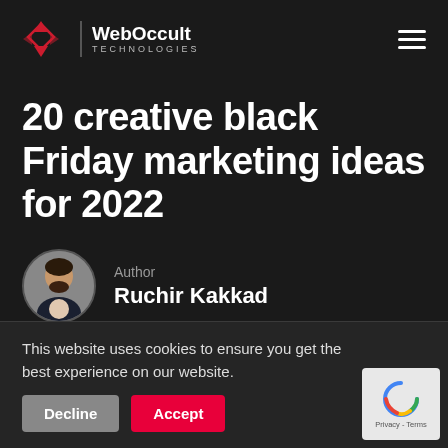[Figure (logo): WebOccult Technologies logo with red diamond/arrow icon and company name]
20 creative black Friday marketing ideas for 2022
Author
Ruchir Kakkad
Date
This website uses cookies to ensure you get the best experience on our website.
Decline
Accept